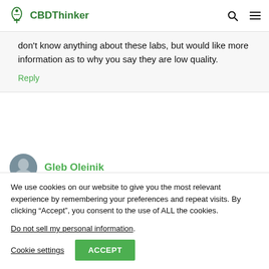CBDThinker
don't know anything about these labs, but would like more information as to why you say they are low quality.
Reply
Gleb Oleinik
We use cookies on our website to give you the most relevant experience by remembering your preferences and repeat visits. By clicking “Accept”, you consent to the use of ALL the cookies.
Do not sell my personal information.
Cookie settings
ACCEPT